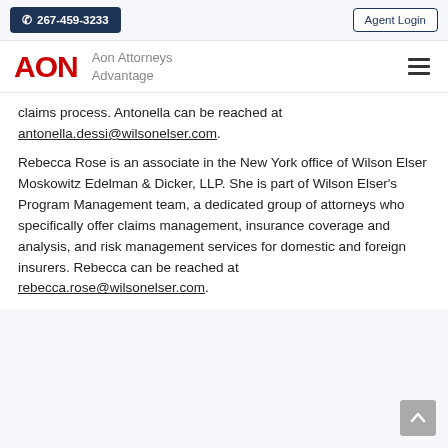📞 267-459-3233 | Agent Login
[Figure (logo): AON logo in red with text 'Aon Attorneys Advantage' and hamburger menu icon]
claims process. Antonella can be reached at antonella.dessi@wilsonelser.com.
Rebecca Rose is an associate in the New York office of Wilson Elser Moskowitz Edelman & Dicker, LLP. She is part of Wilson Elser's Program Management team, a dedicated group of attorneys who specifically offer claims management, insurance coverage and analysis, and risk management services for domestic and foreign insurers. Rebecca can be reached at rebecca.rose@wilsonelser.com.